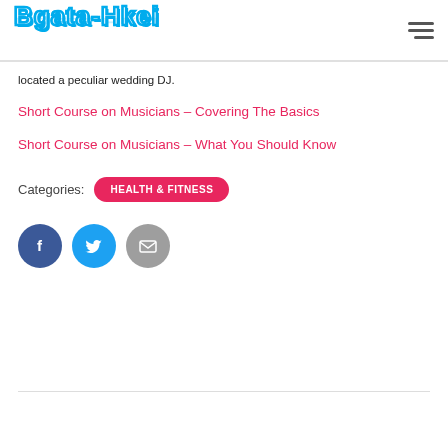Bgata-Hkei
located a peculiar wedding DJ.
Short Course on Musicians – Covering The Basics
Short Course on Musicians – What You Should Know
Categories: HEALTH & FITNESS
[Figure (other): Social share icons: Facebook (dark blue circle with f), Twitter (light blue circle with bird), Email (grey circle with envelope)]